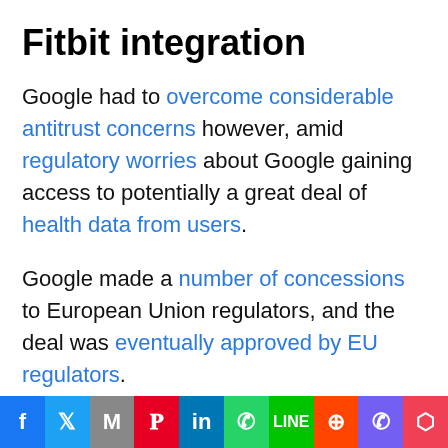Fitbit integration
Google had to overcome considerable antitrust concerns however, amid regulatory worries about Google gaining access to potentially a great deal of health data from users.
Google made a number of concessions to European Union regulators, and the deal was eventually approved by EU regulators.
Now Google is thought to be planning to take on the Apple Watch, and will seek to leverage